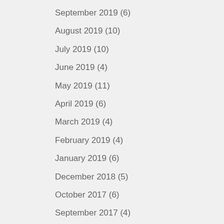September 2019 (6)
August 2019 (10)
July 2019 (10)
June 2019 (4)
May 2019 (11)
April 2019 (6)
March 2019 (4)
February 2019 (4)
January 2019 (6)
December 2018 (5)
October 2017 (6)
September 2017 (4)
August 2017 (2)
July 2017 (5)
June 2017 (4)